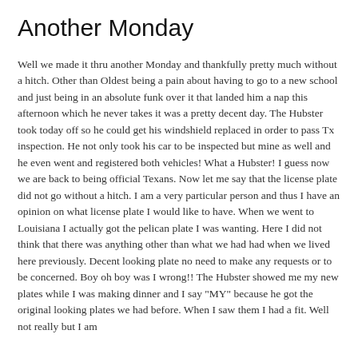Another Monday
Well we made it thru another Monday and thankfully pretty much without a hitch. Other than Oldest being a pain about having to go to a new school and just being in an absolute funk over it that landed him a nap this afternoon which he never takes it was a pretty decent day. The Hubster took today off so he could get his windshield replaced in order to pass Tx inspection. He not only took his car to be inspected but mine as well and he even went and registered both vehicles! What a Hubster! I guess now we are back to being official Texans.
Now let me say that the license plate did not go without a hitch. I am a very particular person and thus I have an opinion on what license plate I would like to have. When we went to Louisiana I actually got the pelican plate I was wanting. Here I did not think that there was anything other than what we had had when we lived here previously. Decent looking plate no need to make any requests or to be concerned. Boy oh boy was I wrong!!
The Hubster showed me my new plates while I was making dinner and I say "MY" because he got the original looking plates we had before. When I saw them I had a fit. Well not really but I am